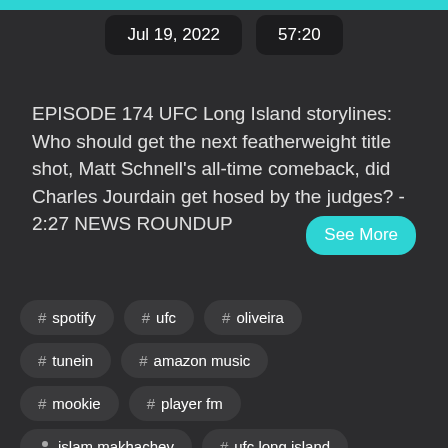Jul 19, 2022   57:20
EPISODE 174 UFC Long Island storylines: Who should get the next featherweight title shot, Matt Schnell's all-time comeback, did Charles Jourdain get hosed by the judges? - 2:27 NEWS ROUNDUP
# spotify
# ufc
# oliveira
# tunein
# amazon music
# mookie
# player fm
islam makhachev
# ufc long island
# bloody elbow
matt schnell